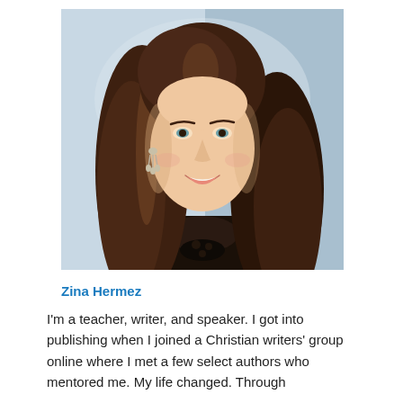[Figure (photo): Professional headshot of Zina Hermez, a woman with long brown hair, smiling, wearing a black top and chandelier earrings, against a light blue-grey background.]
Zina Hermez
I'm a teacher, writer, and speaker. I got into publishing when I joined a Christian writers' group online where I met a few select authors who mentored me. My life changed. Through